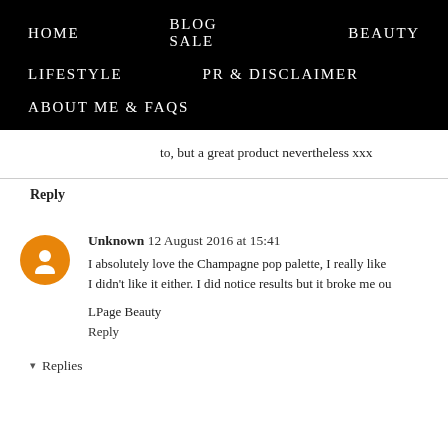HOME   BLOG SALE   BEAUTY   LIFESTYLE   PR & DISCLAIMER   ABOUT ME & FAQs
to, but a great product nevertheless xxx
Reply
Unknown 12 August 2016 at 15:41
I absolutely love the Champagne pop palette, I really like
I didn't like it either. I did notice results but it broke me ou

LPage Beauty
Reply
Replies